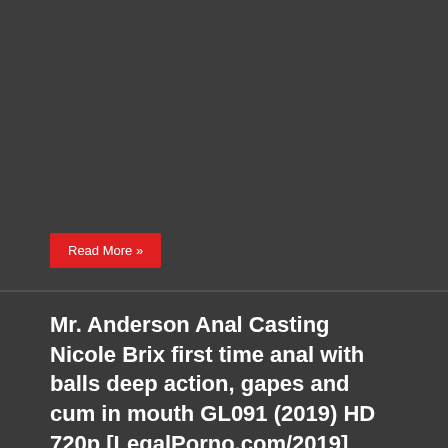[Figure (other): Dark gray background image placeholder area with blurred/dark content]
Read More »
Mr. Anderson Anal Casting Nicole Brix first time anal with balls deep action, gapes and cum in mouth GL091 (2019) HD 720p [LegalPorno.com/2019]
November 28, 2019  Russian Porn  Comments Off